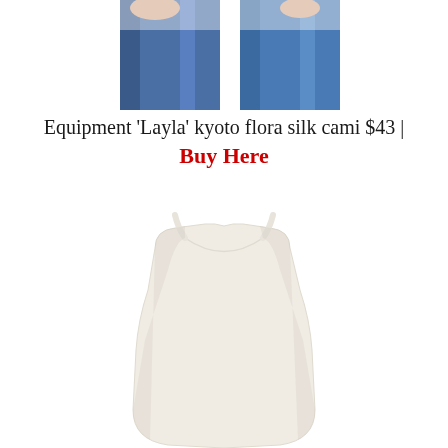[Figure (photo): Cropped photo showing lower half of a model wearing blue denim jeans, with hands visible at top]
Equipment ‘Layla’ kyoto flora silk cami $43 | Buy Here
[Figure (photo): White silk camisole top with thin spaghetti straps and scoop neckline, shown on white background]